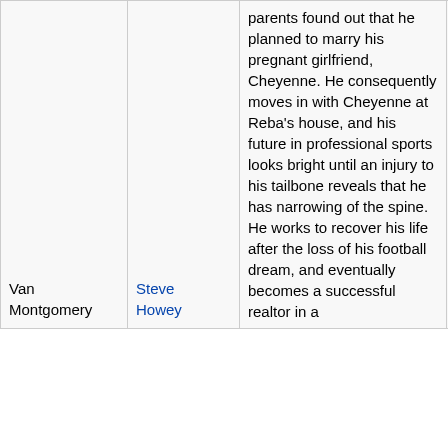| Character | Actor | Description | Family |
| --- | --- | --- | --- |
| Van Montgomery | Steve Howey | parents found out that he planned to marry his pregnant girlfriend, Cheyenne. He consequently moves in with Cheyenne at Reba's house, and his future in professional sports looks bright until an injury to his tailbone reveals that he has narrowing of the spine. He works to recover his life after the loss of his football dream, and eventually becomes a successful realtor in a | Father- Dan Montgomery (Sam McMurray, Mark Tymchyshyn) Mother- Sue Montgomery (Joanna Gleason, Kathleen Hennesy, Robin Riker) |